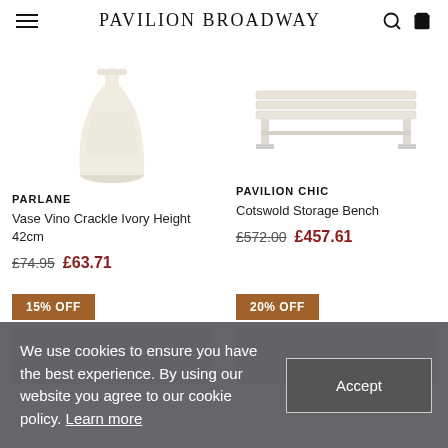PAVILION BROADWAY
[Figure (photo): White crackle glaze ceramic vase with tapered cylindrical form, Parlane brand]
PARLANE
Vase Vino Crackle Ivory Height 42cm
£74.95  £63.71
[Figure (photo): White wooden storage bench with simple slatted top, Pavilion Chic brand]
PAVILION CHIC
Cotswold Storage Bench
£572.00  £457.61
[Figure (photo): 15% OFF badge with partial product image below]
[Figure (photo): 20% OFF badge with partial product image below]
We use cookies to ensure you have the best experience. By using our website you agree to our cookie policy. Learn more